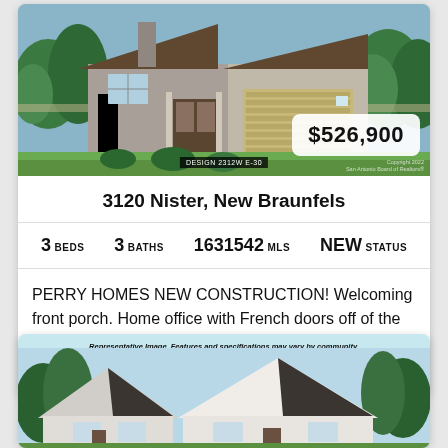[Figure (photo): Exterior rendering of a two-story brick and stone home with two-car garage and landscaped front yard]
$526,900
3120 Nister, New Braunfels
3 BEDS   3 BATHS   1631542 MLS   NEW STATUS
PERRY HOMES NEW CONSTRUCTION! Welcoming front porch. Home office with French doors off of the family room. Two-story family room. Kitchen features an island and a large w...
[Figure (illustration): Representative image of a home exterior - Features and specifications may vary by community]